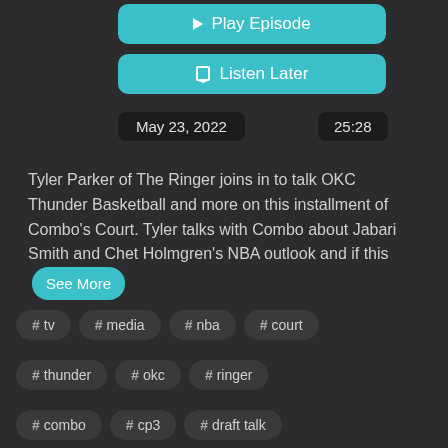[Figure (screenshot): Play Episode button - teal rounded rectangle with play triangle icon]
[Figure (screenshot): Listen Later button - teal rounded rectangle with bookmark icon]
May 23, 2022
25:28
Tyler Parker of The Ringer joins in to talk OKC Thunder Basketball and more on this installment of Combo's Court. Tyler talks with Combo about Jabari Smith and Chet Holmgren's NBA outlook and if this
See More
# tv
# media
# nba
# court
# thunder
# okc
# ringer
# combo
# cp3
# draft talk